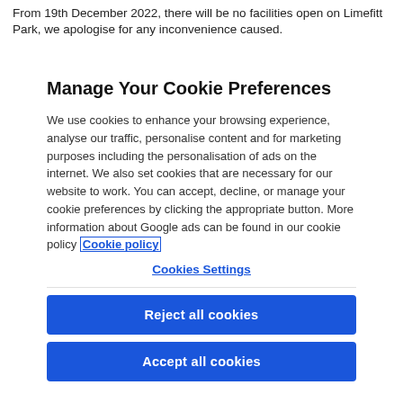From 19th December 2022, there will be no facilities open on Limefitt Park, we apologise for any inconvenience caused.
Manage Your Cookie Preferences
We use cookies to enhance your browsing experience, analyse our traffic, personalise content and for marketing purposes including the personalisation of ads on the internet. We also set cookies that are necessary for our website to work. You can accept, decline, or manage your cookie preferences by clicking the appropriate button. More information about Google ads can be found in our cookie policy Cookie policy
Cookies Settings
Reject all cookies
Accept all cookies